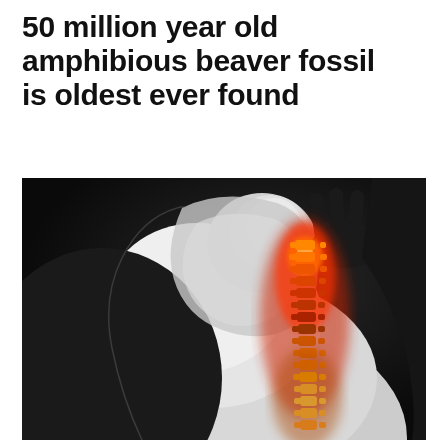50 million year old amphibious beaver fossil is oldest ever found
[Figure (photo): Medical illustration showing an X-ray style view of a human torso from behind. The shoulder and upper back are rendered in white/gray. The spine is highlighted in red and orange/yellow glowing colors indicating pain or heat, running vertically down the center-right of the image. A hand appears to be touching the shoulder area. Dark background.]